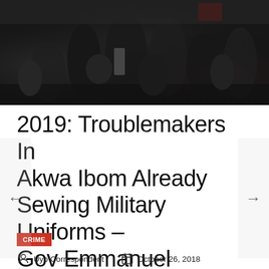[Figure (photo): Crowd of people in dark clothing, appears to be a political or public gathering event]
2019: Troublemakers In Akwa Ibom Already Sewing Military Uniforms – Gov Emmanuel
CRIME
Uyo Correspondent   October 26, 2018